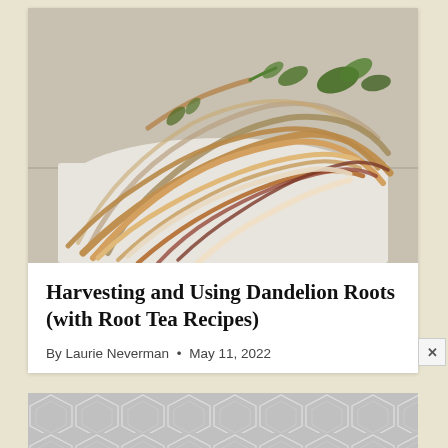[Figure (photo): A pile of freshly harvested dandelion roots with small green leaf bits at the tops, laid on a white cloth/surface on a tiled countertop. Roots are thin, long, cream-colored with brown and reddish hues.]
Harvesting and Using Dandelion Roots (with Root Tea Recipes)
By Laurie Neverman • May 11, 2022
[Figure (other): Gray hexagonal/geometric pattern advertisement banner at the bottom of the page.]